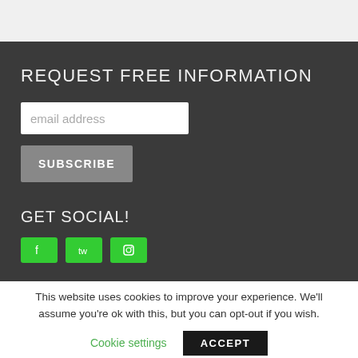REQUEST FREE INFORMATION
[Figure (screenshot): Email address input field with white background and placeholder text 'email address']
[Figure (screenshot): Gray SUBSCRIBE button]
GET SOCIAL!
[Figure (screenshot): Three green social media icon buttons (Facebook, Twitter, Instagram)]
This website uses cookies to improve your experience. We'll assume you're ok with this, but you can opt-out if you wish.
Cookie settings
ACCEPT